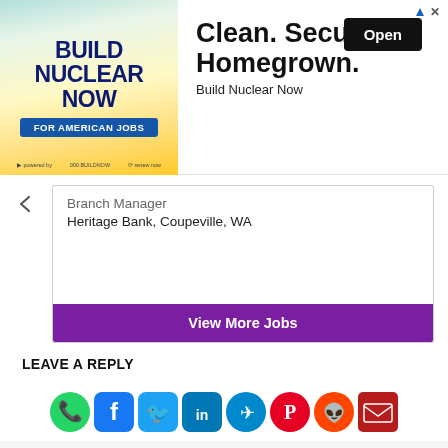[Figure (screenshot): Advertisement banner for 'Build Nuclear Now' — shows text 'Clean. Secure. Homegrown.' with an Open button and 'Build Nuclear Now' branding]
Branch Manager
Heritage Bank, Coupeville, WA
View More Jobs
LEAVE A REPLY
Comment:
[Figure (infographic): Row of social media sharing icons: WhatsApp (green), Facebook (blue), Twitter (light blue), LinkedIn (dark blue), Telegram (blue), Pinterest (red-white), Reddit (orange), Email (dark red envelope)]
[Figure (photo): Cosgrove Real Estate advertisement: logo on left, building photo center, text 'SMART HOMES. PRIME INVESTMENTS.' on right]